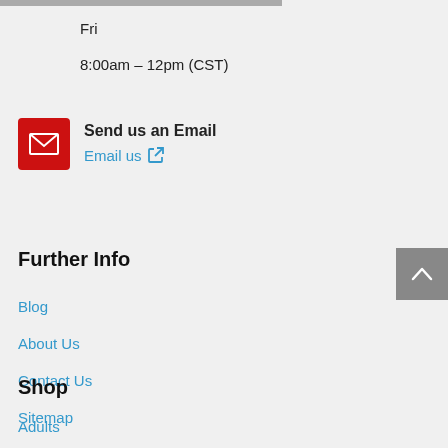Fri
8:00am – 12pm (CST)
Send us an Email
Email us
Further Info
Blog
About Us
Contact Us
Sitemap
Shop
Adults